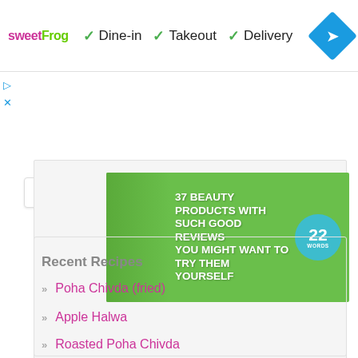[Figure (screenshot): sweetFrog logo with dine-in, takeout, delivery service options and navigation diamond icon]
[Figure (infographic): Advertisement banner: 37 Beauty Products With Such Good Reviews You Might Want To Try Them Yourself - 22 Words badge on green background]
Recent Recipes
Poha Chivda (fried)
Apple Halwa
Roasted Poha Chivda